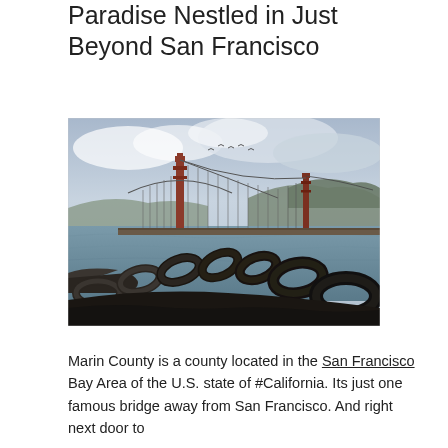Paradise Nestled in Just Beyond San Francisco
[Figure (photo): Photograph of the Golden Gate Bridge viewed from the Marin side, with a large iron chain in the foreground, the bay and hills in the background under a cloudy sky with birds flying.]
Marin County is a county located in the San Francisco Bay Area of the U.S. state of #California. Its just one famous bridge away from San Francisco. And right next door to